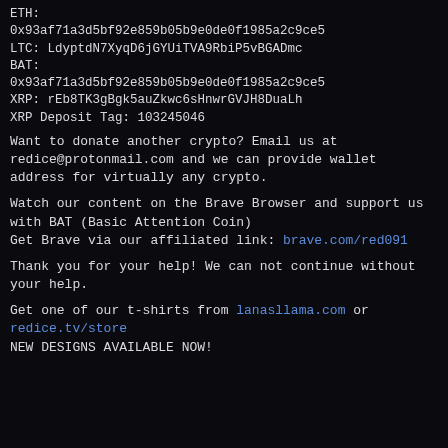ETH:
0x93af71a3d5bf92e859b05b9e0de0f1985a2c9ce5
LTC: LdyptdN7XyqD6jGYUiTVA9RbiP5vBGADmc
BAT:
0x93af71a3d5bf92e859b05b9e0de0f1985a2c9ce5
XRP: rEb8TK3gBgk5auZkwc6sHnwrGVJH8DuaLh
XRP Deposit Tag: 103245046
Want to donate another crypto? Email us at redice@protonmail.com and we can provide wallet address for virtually any crypto.
Watch our content on the Brave Browser and support us with BAT (Basic Attention Coin)
Get Brave via our affiliated link: brave.com/red091
Thank you for your help! We can not continue without your help.
Get one of our t-shirts from lanasllama.com or redice.tv/store
NEW DESIGNS AVAILABLE NOW!